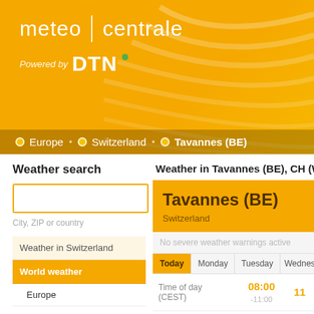[Figure (logo): Meteo Centrale powered by DTN logo on orange/yellow banner background with decorative white wavy lines]
Europe • Switzerland • Tavannes (BE)
Weather search
City, ZIP or country
Weather in Switzerland
World weather
Europe
Africa
North America
South America
Asia
Oceania
Travel weather
Weather in Tavannes (BE), CH (Wea...
Tavannes (BE)
Switzerland
No severe weather warnings active
| Time of day (CEST) | 08:00 | 11... |
| --- | --- | --- |
|  | -11:00 |  |
|  | ☀ |  |
| Temperature | 12 °C | 1... |
Today | Monday | Tuesday | Wednesday tabs